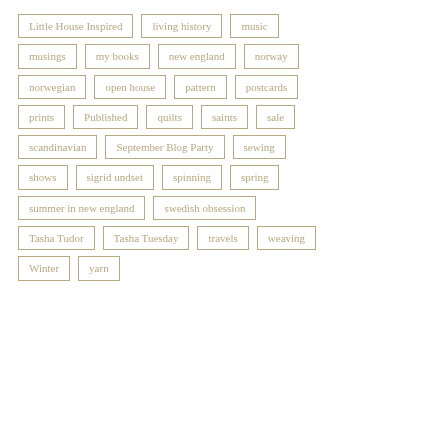Little House Inspired
living history
music
musings
my books
new england
norway
norwegian
open house
pattern
postcards
prints
Published
quilts
saints
sale
scandinavian
September Blog Party
sewing
shows
sigrid undset
spinning
spring
summer in new england
swedish obsession
Tasha Tudor
Tasha Tuesday
travels
weaving
Winter
yarn